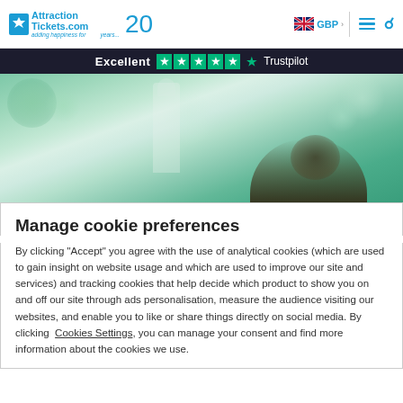AttractionTickets.com 20 years — GBP — navigation header
[Figure (screenshot): AttractionTickets.com logo with 20 years branding, GBP currency selector with UK flag, hamburger menu icon, and search icon]
[Figure (screenshot): Dark bar showing Excellent rating with Trustpilot green stars and Trustpilot logo]
[Figure (photo): Blurred outdoor hero image with green foliage bokeh and partial view of a person's head at bottom right]
Manage cookie preferences
By clicking "Accept" you agree with the use of analytical cookies (which are used to gain insight on website usage and which are used to improve our site and services) and tracking cookies that help decide which product to show you on and off our site through ads personalisation, measure the audience visiting our websites, and enable you to like or share things directly on social media. By clicking Cookies Settings, you can manage your consent and find more information about the cookies we use.